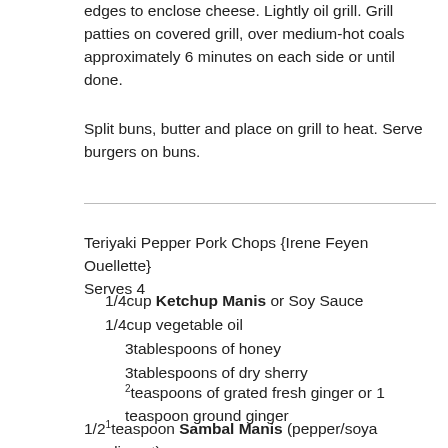edges to enclose cheese. Lightly oil grill. Grill patties on covered grill, over medium-hot coals approximately 6 minutes on each side or until done.
Split buns, butter and place on grill to heat. Serve burgers on buns.
Teriyaki Pepper Pork Chops {Irene Feyen Ouellette}
Serves 4
1/4cup Ketchup Manis or Soy Sauce
1/4cup vegetable oil
3tablespoons of honey
3tablespoons of dry sherry
2teaspoons of grated fresh ginger or 1 teaspoon ground ginger
1 1/2teaspoon Sambal Manis (pepper/soya condiment)
4pork loin chops, 1 inch thick
In a shallow glass serving dish, combine all ingredients except pork chops. Add pork chops and baste. Cover and